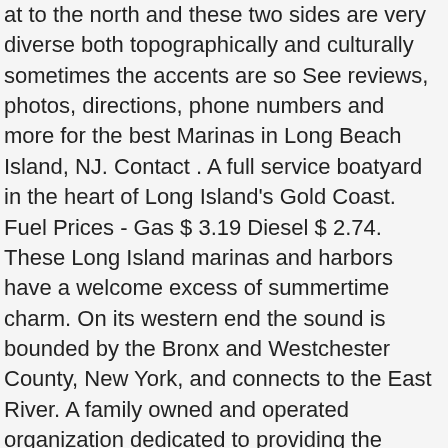at to the north and these two sides are very diverse both topographically and culturally sometimes the accents are so See reviews, photos, directions, phone numbers and more for the best Marinas in Long Beach Island, NJ. Contact . A full service boatyard in the heart of Long Island's Gold Coast. Fuel Prices - Gas $ 3.19 Diesel $ 2.74. These Long Island marinas and harbors have a welcome excess of summertime charm. On its western end the sound is bounded by the Bronx and Westchester County, New York, and connects to the East River. A family owned and operated organization dedicated to providing the ultimate boating experience. Fits Mega Yachts Comfortably up to 120' Room and Depth Available for Even Larger Yachts . They use Dockwa. GROTON, Conn. (WTNH) — The U.S. Coast Guard Sector Long Island Sound has found the body of a boater who departed from a Groton marina and was reported missing Friday evening. $18 - $22 an hour. Pumpout Maps go mobile. It is our goal to help our customers find the perfect watercraft to fit their lifestyle, along with just the right parts and accessories. Cedar Island Marina has year-